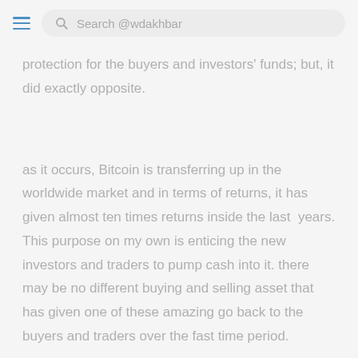Search @wdakhbar
protection for the buyers and investors' funds; but, it did exactly opposite.
as it occurs, Bitcoin is transferring up in the worldwide market and in terms of returns, it has given almost ten times returns inside the last  years. This purpose on my own is enticing the new investors and traders to pump cash into it. there may be no different buying and selling asset that has given one of these amazing go back to the buyers and traders over the fast time period.